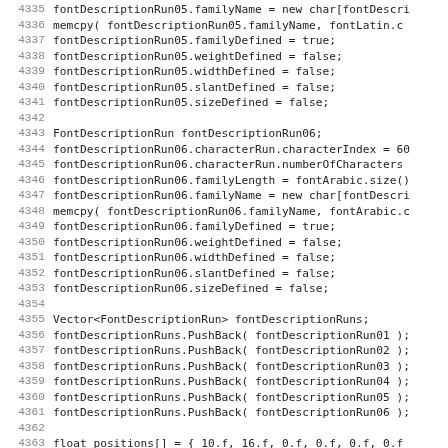Code listing lines 4335–4366 showing C++ source code for font description run initialization and vector population.